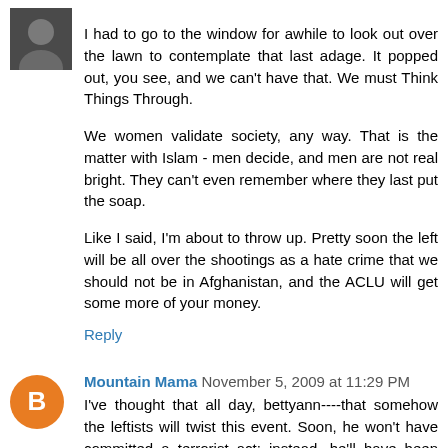[Figure (photo): Small square avatar photo of a person, dark tones]
I had to go to the window for awhile to look out over the lawn to contemplate that last adage. It popped out, you see, and we can't have that. We must Think Things Through.

We women validate society, any way. That is the matter with Islam - men decide, and men are not real bright. They can't even remember where they last put the soap.

Like I said, I'm about to throw up. Pretty soon the left will be all over the shootings as a hate crime that we should not be in Afghanistan, and the ACLU will get some more of your money.
Reply
[Figure (illustration): Orange circular avatar with white letter B (Blogger logo)]
Mountain Mama  November 5, 2009 at 11:29 PM
I've thought that all day, bettyann----that somehow the leftists will twist this event. Soon, he won't have committed a terrorist act; instead, he'll have been "justifiably" upset for being forced by our military to wage war against others who